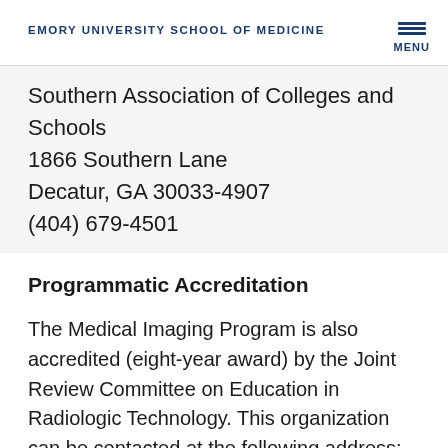EMORY UNIVERSITY SCHOOL OF MEDICINE
Southern Association of Colleges and Schools
1866 Southern Lane
Decatur, GA 30033-4907
(404) 679-4501
Programmatic Accreditation
The Medical Imaging Program is also accredited (eight-year award) by the Joint Review Committee on Education in Radiologic Technology. This organization can be contacted at the following address: